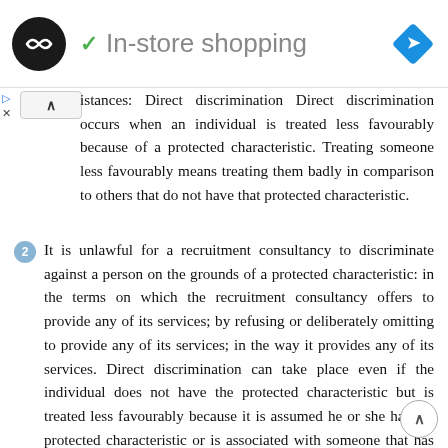In-store shopping
istances: Direct discrimination Direct discrimination occurs when an individual is treated less favourably because of a protected characteristic. Treating someone less favourably means treating them badly in comparison to others that do not have that protected characteristic.
2. It is unlawful for a recruitment consultancy to discriminate against a person on the grounds of a protected characteristic: in the terms on which the recruitment consultancy offers to provide any of its services; by refusing or deliberately omitting to provide any of its services; in the way it provides any of its services. Direct discrimination can take place even if the individual does not have the protected characteristic but is treated less favourably because it is assumed he or she has the protected characteristic or is associated with someone that has the protected characteristic. Direct